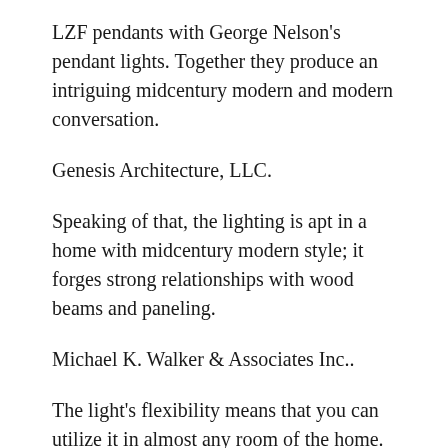LZF pendants with George Nelson's pendant lights. Together they produce an intriguing midcentury modern and modern conversation.
Genesis Architecture, LLC.
Speaking of that, the lighting is apt in a home with midcentury modern style; it forges strong relationships with wood beams and paneling.
Michael K. Walker & Associates Inc..
The light's flexibility means that you can utilize it in almost any room of the home. In this scenario its shape, materials and ambient glow add warmth and character to a dreamy closet.